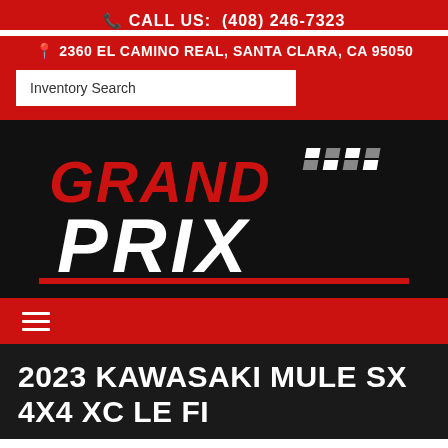CALL US: (408) 246-7323
2360 EL CAMINO REAL, SANTA CLARA, CA 95050
Inventory Search
[Figure (logo): Grand Prix motorcycle dealer logo with red 'GRAND' text and white 'PRIX' text on black background with checkered flag motif]
2023 KAWASAKI MULE SX 4X4 XC LE FI